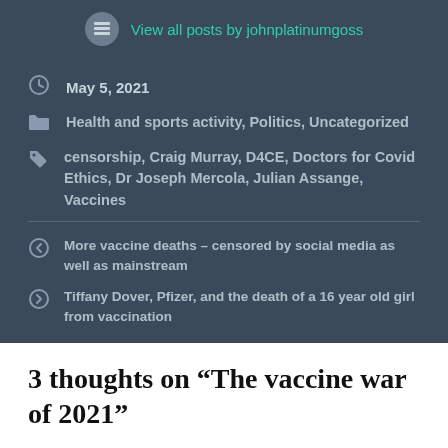View all posts by johnplatinumgoss
May 5, 2021
Health and sports activity, Politics, Uncategorized
censorship, Craig Murray, D4CE, Doctors for Covid Ethics, Dr Joseph Mercola, Julian Assange, Vaccines
More vaccine deaths – censored by social media as well as mainstream
Tiffany Dover, Pfizer, and the death of a 16 year old girl from vaccination
3 thoughts on “The vaccine war of 2021”